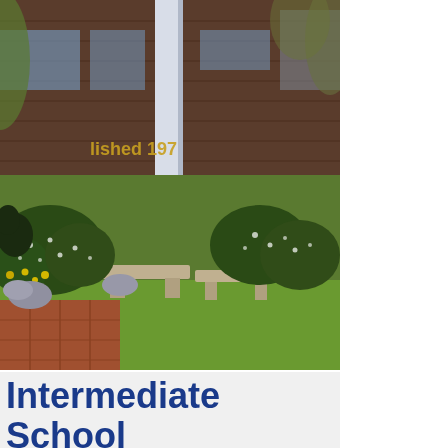[Figure (photo): Exterior photo of an intermediate school building. Shows brick building facade with 'established 197...' text visible in gold letters, white columns, ornamental shrubs, stone benches, a sculpted animal figure, brick walkway, and green lawn in the foreground. Spring foliage visible.]
Intermediate School News: April 24 – April